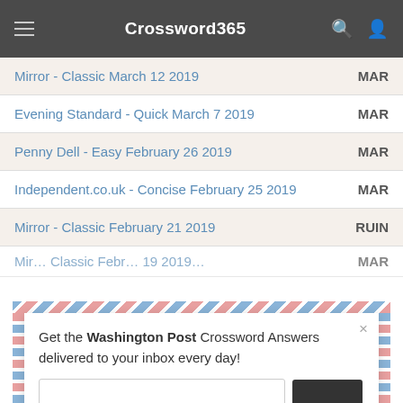Crossword365
Mirror - Classic March 12 2019 | MAR
Evening Standard - Quick March 7 2019 | MAR
Penny Dell - Easy February 26 2019 | MAR
Independent.co.uk - Concise February 25 2019 | MAR
Mirror - Classic February 21 2019 | RUIN
Mirror - Classic February 19 2019 | MAR (partial)
Get the Washington Post Crossword Answers delivered to your inbox every day!